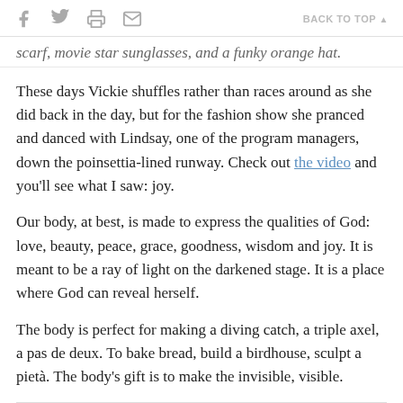f [facebook] [twitter] [print] [email] BACK TO TOP ▲
scarf, movie star sunglasses, and a funky orange hat.
These days Vickie shuffles rather than races around as she did back in the day, but for the fashion show she pranced and danced with Lindsay, one of the program managers, down the poinsettia-lined runway. Check out the video and you'll see what I saw: joy.
Our body, at best, is made to express the qualities of God: love, beauty, peace, grace, goodness, wisdom and joy. It is meant to be a ray of light on the darkened stage. It is a place where God can reveal herself.
The body is perfect for making a diving catch, a triple axel, a pas de deux. To bake bread, build a birdhouse, sculpt a pietà. The body's gift is to make the invisible, visible.